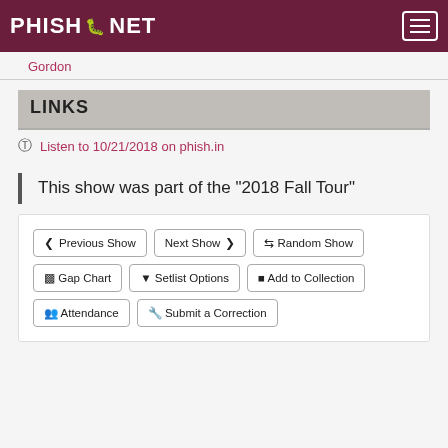PHISH.NET
Gordon
LINKS
Listen to 10/21/2018 on phish.in
This show was part of the "2018 Fall Tour"
Previous Show
Next Show
Random Show
Gap Chart
Setlist Options
Add to Collection
Attendance
Submit a Correction